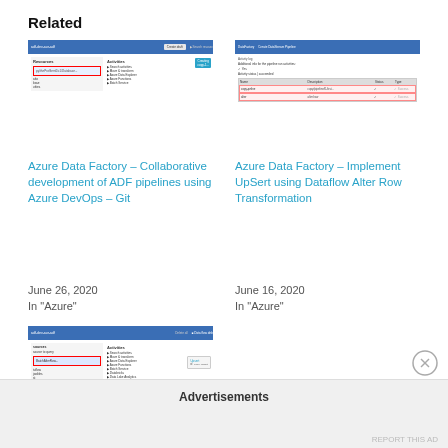Related
[Figure (screenshot): Screenshot of Azure Data Factory collaborative development interface showing Resources and Activities panels]
Azure Data Factory – Collaborative development of ADF pipelines using Azure DevOps – Git
June 26, 2020
In "Azure"
[Figure (screenshot): Screenshot of Azure Data Factory showing Create Dataflow PipeLine with activity log and table view]
Azure Data Factory – Implement UpSert using Dataflow Alter Row Transformation
June 16, 2020
In "Azure"
[Figure (screenshot): Screenshot of Azure Data Factory interface showing Activities panel and Upsert configuration]
Advertisements